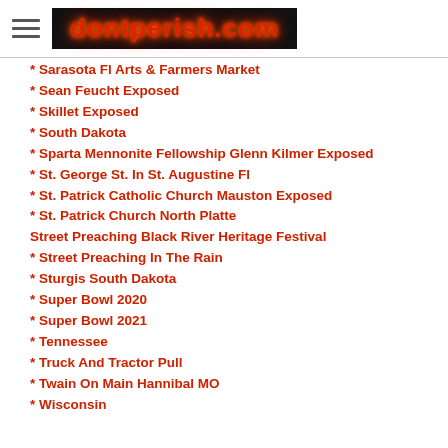dontperish.com
* Sarasota Fl Arts & Farmers Market
* Sean Feucht Exposed
* Skillet Exposed
* South Dakota
* Sparta Mennonite Fellowship Glenn Kilmer Exposed
* St. George St. In St. Augustine Fl
* St. Patrick Catholic Church Mauston Exposed
* St. Patrick Church North Platte
Street Preaching Black River Heritage Festival
* Street Preaching In The Rain
* Sturgis South Dakota
* Super Bowl 2020
* Super Bowl 2021
* Tennessee
* Truck And Tractor Pull
* Twain On Main Hannibal MO
* Wisconsin